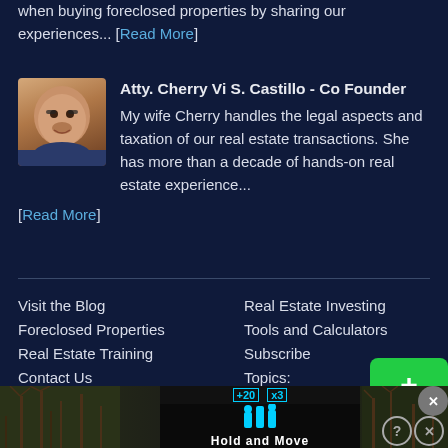when buying foreclosed properties by sharing our experiences... [Read More]
Atty. Cherry Vi S. Castillo - Co Founder
My wife Cherry handles the legal aspects and taxation of our real estate transactions. She has more than a decade of hands-on real estate experience... [Read More]
Visit the Blog
Foreclosed Properties
Real Estate Training
Contact Us
Advertise
Youtube Channel
Real Estate Investing
Tools and Calculators
Subscribe
Topics:
[Figure (screenshot): Advertisement banner at the bottom showing Hold and Move app with tree/winter background]
[Figure (other): Green SHARE button with plus icon]